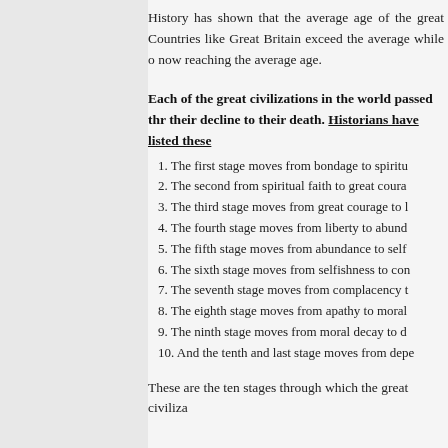History has shown that the average age of the great Countries like Great Britain exceed the average while others are now reaching the average age.
Each of the great civilizations in the world passed through their decline to their death. Historians have listed these
1. The first stage moves from bondage to spiritu
2. The second from spiritual faith to great coura
3. The third stage moves from great courage to l
4. The fourth stage moves from liberty to abund
5. The fifth stage moves from abundance to self
6. The sixth stage moves from selfishness to com
7. The seventh stage moves from complacency t
8. The eighth stage moves from apathy to moral
9. The ninth stage moves from moral decay to d
10. And the tenth and last stage moves from depe
These are the ten stages through which the great civiliza